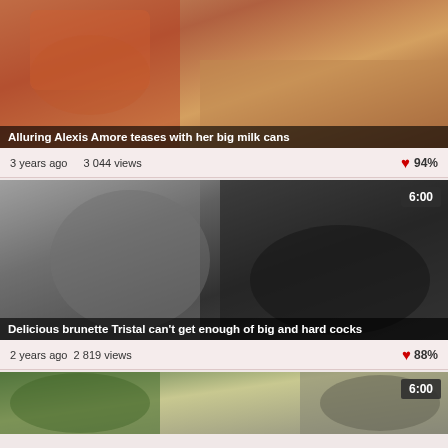[Figure (photo): Video thumbnail showing adult content - Alexis Amore]
Alluring Alexis Amore teases with her big milk cans
3 years ago  3 044 views  ♥94%
[Figure (photo): Video thumbnail showing adult content - Tristal brunette]
Delicious brunette Tristal can't get enough of big and hard cocks
2 years ago  2 819 views  ♥88%
[Figure (photo): Video thumbnail showing adult content - third video]